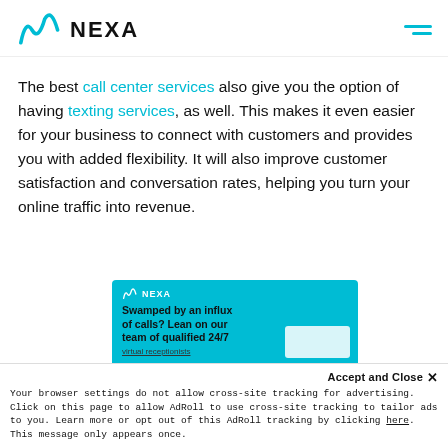NEXA
The best call center services also give you the option of having texting services, as well. This makes it even easier for your business to connect with customers and provides you with added flexibility. It will also improve customer satisfaction and conversation rates, helping you turn your online traffic into revenue.
[Figure (advertisement): NEXA advertisement banner on cyan background. Text reads: Swamped by an influx of calls? Lean on our team of qualified 24/7 virtual receptionists]
Accept and Close ×
Your browser settings do not allow cross-site tracking for advertising. Click on this page to allow AdRoll to use cross-site tracking to tailor ads to you. Learn more or opt out of this AdRoll tracking by clicking here. This message only appears once.